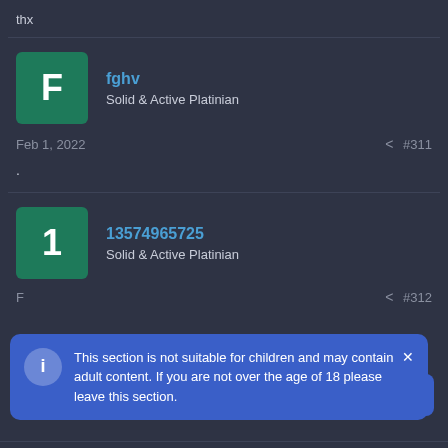thx
fghv
Solid & Active Platinian
Feb 1, 2022    < #311
.
13574965725
Solid & Active Platinian
This section is not suitable for children and may contain adult content. If you are not over the age of 18 please leave this section.